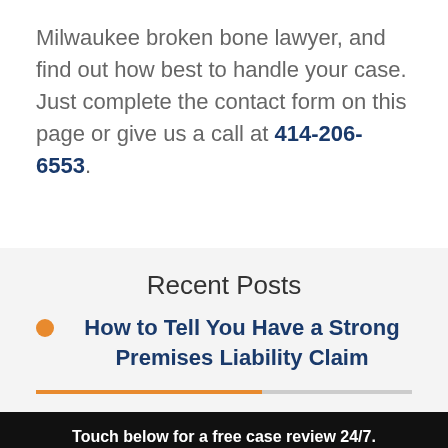Milwaukee broken bone lawyer, and find out how best to handle your case. Just complete the contact form on this page or give us a call at 414-206-6553.
Recent Posts
How to Tell You Have a Strong Premises Liability Claim
Touch below for a free case review 24/7.
CALL   MESSAGE   CHAT